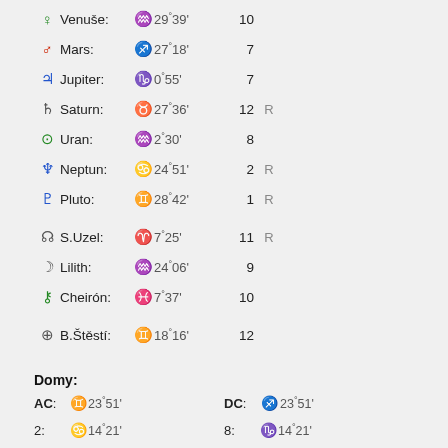| Symbol | Planet | Sign | Degree | House | R |
| --- | --- | --- | --- | --- | --- |
| ♀ | Venuše: | ♒ | 29°39' | 10 |  |
| ♂ | Mars: | ♐ | 27°18' | 7 |  |
| ♃ | Jupiter: | ♑ | 0°55' | 7 |  |
| ♄ | Saturn: | ♉ | 27°36' | 12 | R |
| ⛢ | Uran: | ♒ | 2°30' | 8 |  |
| ♆ | Neptun: | ♋ | 24°51' | 2 | R |
| ♇ | Pluto: | ♊ | 28°42' | 1 | R |
| ☊ | S.Uzel: | ♈ | 7°25' | 11 | R |
| ☽ | Lilith: | ♒ | 24°06' | 9 |  |
| ⚷ | Cheirón: | ♓ | 7°37' | 10 |  |
| ⊕ | B.Štěstí: | ♊ | 18°16' | 12 |  |
Domy:
| Label | Sign | Degree | Label2 | Sign2 | Degree2 |
| --- | --- | --- | --- | --- | --- |
| AC: | ♊ | 23°51' | DC: | ♐ | 23°51' |
| 2: | ♋ | 14°21' | 8: | ♑ | 14°21' |
| 3: | ♌ | 4°55' | 9: | ♒ | 4°55' |
| IC: | ♌ | 29°23' | MC | ♒ | 29°23' |
| 5: | ♎ | 1°52' | 11: | ♈ | 1°52' |
| 6: | ♏ | 13°25' | 12: | ♉ | 13°25' |
Zastoupení živlů:
3x 🔥 Oheň   6x ☁ Země